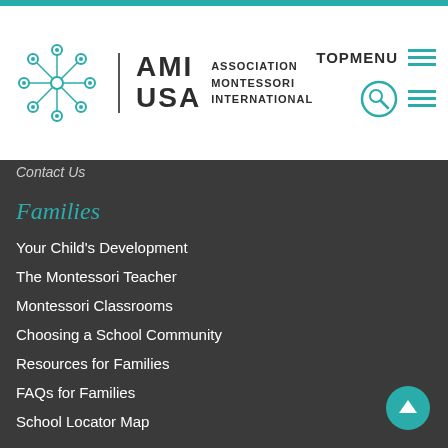[Figure (logo): AMI USA Association Montessori International logo with teal circular icon]
TOPMENU
Contact Us
Families
Your Child's Development
The Montessori Teacher
Montessori Classrooms
Choosing a School Community
Resources for Families
FAQs for Families
School Locator Map
Teacher Training
Why AMI Training?
Training FAQs
AMI Training Center Locator